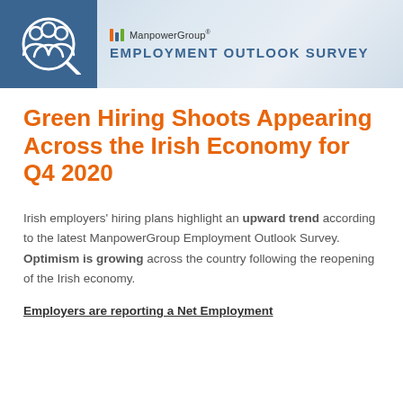[Figure (logo): ManpowerGroup Employment Outlook Survey banner header with blue box containing people/search icon on left, ManpowerGroup logo and 'EMPLOYMENT OUTLOOK SURVEY' text on right with light blue gradient background]
Green Hiring Shoots Appearing Across the Irish Economy for Q4 2020
Irish employers' hiring plans highlight an upward trend according to the latest ManpowerGroup Employment Outlook Survey. Optimism is growing across the country following the reopening of the Irish economy.
Employers are reporting a Net Employment